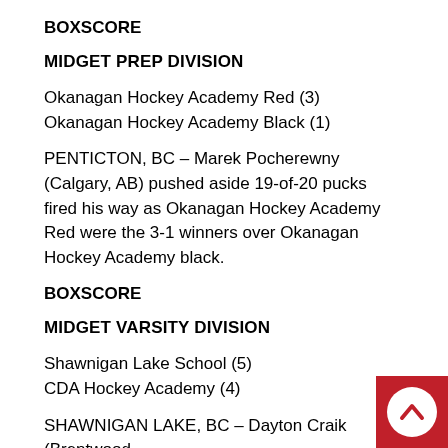BOXSCORE
MIDGET PREP DIVISION
Okanagan Hockey Academy Red (3)
Okanagan Hockey Academy Black (1)
PENTICTON, BC – Marek Pocherewny (Calgary, AB) pushed aside 19-of-20 pucks fired his way as Okanagan Hockey Academy Red were the 3-1 winners over Okanagan Hockey Academy black.
BOXSCORE
MIDGET VARSITY DIVISION
Shawnigan Lake School (5)
CDA Hockey Academy (4)
SHAWNIGAN LAKE, BC – Dayton Craik (Brentwood